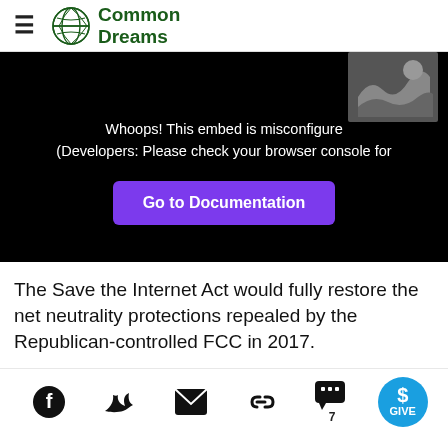Common Dreams
[Figure (screenshot): Embedded media player showing error: 'Whoops! This embed is misconfigured (Developers: Please check your browser console for' with a 'Go to Documentation' purple button]
The Save the Internet Act would fully restore the net neutrality protections repealed by the Republican-controlled FCC in 2017.
Social share icons: Facebook, Twitter, Email, Link, Comments (7), Give